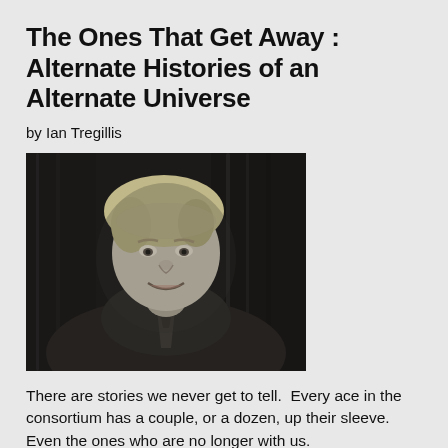The Ones That Get Away : Alternate Histories of an Alternate Universe
by Ian Tregillis
[Figure (photo): Black and white portrait photo of Ian Tregillis, a man with light hair, smiling, wearing a dark shirt and tie, against a dark curtain background.]
There are stories we never get to tell.  Every ace in the consortium has a couple, or a dozen, up their sleeve. Even the ones who are no longer with us.